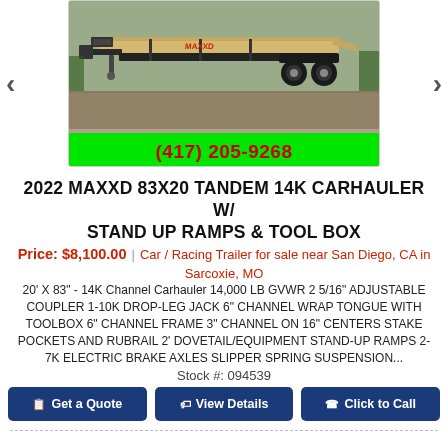[Figure (photo): Photo of a 2022 MAXXD 83x20 Tandem 14K Carhauler trailer with stand-up ramps and tool box, shown outdoors. Below the photo is a bright green banner with phone number (417) 205-9268 in red bold text. Navigation arrows on left and right.]
2022 MAXXD 83X20 TANDEM 14K CARHAULER W/ STAND UP RAMPS & TOOL BOX
Price: $8,100.00 | Car / Racing Trailer for sale near San Diego, CA in Sarcoxie, MO
20' X 83" - 14K Channel Carhauler 14,000 LB GVWR 2 5/16" ADJUSTABLE COUPLER 1-10K DROP-LEG JACK 6" CHANNEL WRAP TONGUE WITH TOOLBOX 6" CHANNEL FRAME 3" CHANNEL ON 16" CENTERS STAKE POCKETS AND RUBRAIL 2' DOVETAIL/EQUIPMENT STAND-UP RAMPS 2-7K ELECTRIC BRAKE AXLES SLIPPER SPRING SUSPENSION...
Stock #: 094539
Get a Quote | View Details | Click to Call